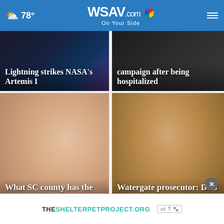78° WSAV.com On Your Side
[Figure (screenshot): News card: Lightning strikes NASA's Artemis I — dark night sky background]
[Figure (screenshot): News card: ...campaign after being hospitalized — dark background with person]
[Figure (screenshot): News card: What SC county has the most breastfed inf... — close-up of newborn infant]
[Figure (screenshot): News card: Watergate prosecutor: DOJ to watch assessme... — photo of Donald Trump]
[Figure (screenshot): Advertisement banner: THESHELTERPETPROJECT.ORG with ad icons]